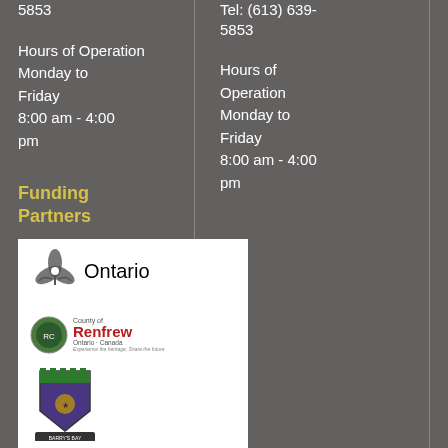5853
Hours of Operation Monday to Friday 8:00 am - 4:00 pm
Tel: (613) 639-5853
Hours of Operation Monday to Friday 8:00 am - 4:00 pm
Funding Partners
[Figure (logo): Logos of funding partners: Ontario government logo, County of Renfrew logo, a municipal coat of arms logo, and a building/institution logo]